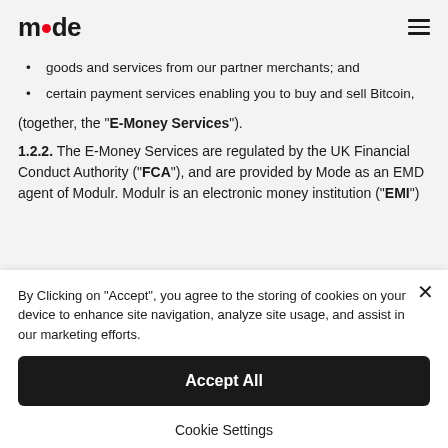mode [logo]
goods and services from our partner merchants; and
certain payment services enabling you to buy and sell Bitcoin,
(together, the “E-Money Services”).
1.2.2. The E-Money Services are regulated by the UK Financial Conduct Authority (“FCA”), and are provided by Mode as an EMD agent of Modulr. Modulr is an electronic money institution (“EMI”)
By Clicking on “Accept”, you agree to the storing of cookies on your device to enhance site navigation, analyze site usage, and assist in our marketing efforts.
Accept All
Cookie Settings